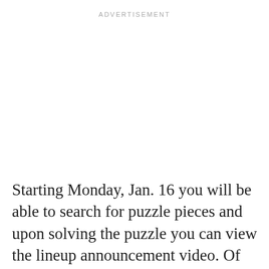ADVERTISEMENT
Starting Monday, Jan. 16 you will be able to search for puzzle pieces and upon solving the puzzle you can view the lineup announcement video. Of course the content of that video will almost certainly be posted on every music blog as soon as it becomes available